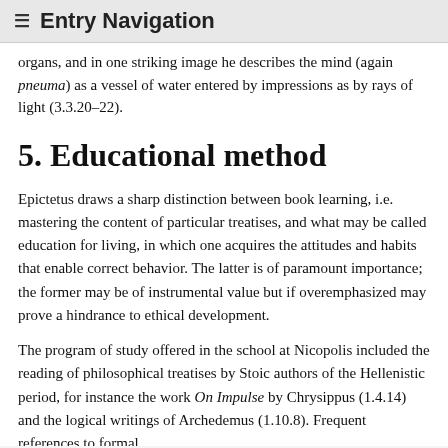≡  Entry Navigation
organs, and in one striking image he describes the mind (again pneuma) as a vessel of water entered by impressions as by rays of light (3.3.20–22).
5. Educational method
Epictetus draws a sharp distinction between book learning, i.e. mastering the content of particular treatises, and what may be called education for living, in which one acquires the attitudes and habits that enable correct behavior. The latter is of paramount importance; the former may be of instrumental value but if overemphasized may prove a hindrance to ethical development.
The program of study offered in the school at Nicopolis included the reading of philosophical treatises by Stoic authors of the Hellenistic period, for instance the work On Impulse by Chrysippus (1.4.14) and the logical writings of Archedemus (1.10.8). Frequent references to formal